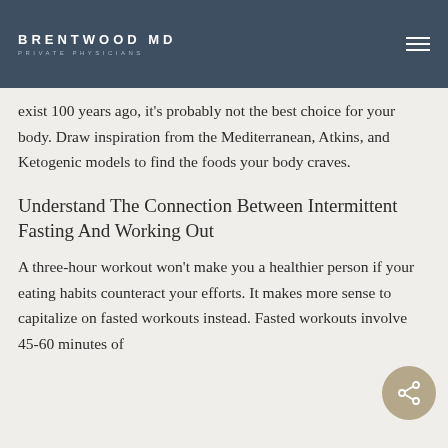BRENTWOOD MD · PRIVATE PHYSICIANS
exist 100 years ago, it's probably not the best choice for your body. Draw inspiration from the Mediterranean, Atkins, and Ketogenic models to find the foods your body craves.
Understand The Connection Between Intermittent Fasting And Working Out
A three-hour workout won't make you a healthier person if your eating habits counteract your efforts. It makes more sense to capitalize on fasted workouts instead. Fasted workouts involve 45-60 minutes of